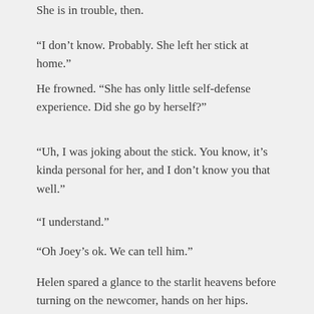She is in trouble, then.
“I don’t know. Probably. She left her stick at home.”
He frowned. “She has only little self-defense experience. Did she go by herself?”
“Uh, I was joking about the stick. You know, it’s kinda personal for her, and I don’t know you that well.”
“I understand.”
“Oh Joey’s ok. We can tell him.”
Helen spared a glance to the starlit heavens before turning on the newcomer, hands on her hips. “Samuel Littleton, if your mother knew you were out at this hour —”